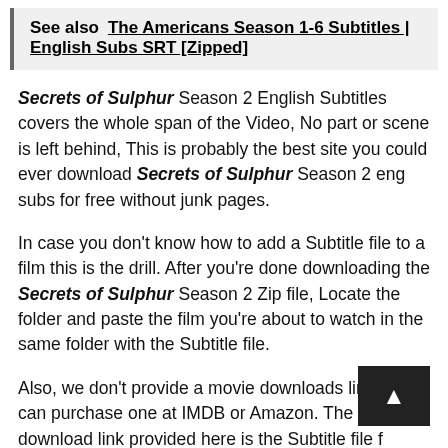See also  The Americans Season 1-6 Subtitles | English Subs SRT [Zipped]
Secrets of Sulphur Season 2 English Subtitles covers the whole span of the Video, No part or scene is left behind, This is probably the best site you could ever download Secrets of Sulphur Season 2 eng subs for free without junk pages.
In case you don't know how to add a Subtitle file to a film this is the drill. After you're done downloading the Secrets of Sulphur Season 2 Zip file, Locate the folder and paste the film you're about to watch in the same folder with the Subtitle file.
Also, we don't provide a movie downloads link, You can purchase one at IMDB or Amazon. The only download link provided here is the Subtitle file for Secrets of Sulphur Season 2 English subs 2022. Any copyright infringement-related information